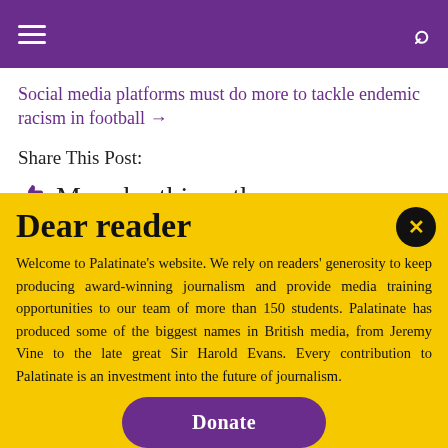Social media platforms must do more to tackle endemic racism in football →
Share This Post:
👍 More by this author
Dear reader
Welcome to Palatinate's website. We rely on readers' generosity to keep producing award-winning journalism and provide media training opportunities to our team of more than 150 students. Palatinate has produced some of the biggest names in British media, from Jeremy Vine to the late great Sir Harold Evans. Every contribution to Palatinate is an investment into the future of journalism.
Donate